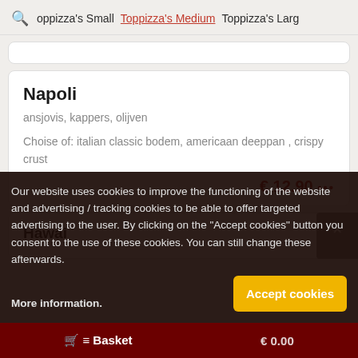Toppizza's Small   Toppizza's Medium   Toppizza's Larg
Napoli
ansjovis, kappers, olijven
Choise of: italian classic bodem, americaan deeppan , crispy crust
€ 12.90 ...
Hawai
Our website uses cookies to improve the functioning of the website and advertising / tracking cookies to be able to offer targeted advertising to the user. By clicking on the "Accept cookies" button you consent to the use of these cookies. You can still change these afterwards. More information.
Accept cookies
Basket   € 0.00